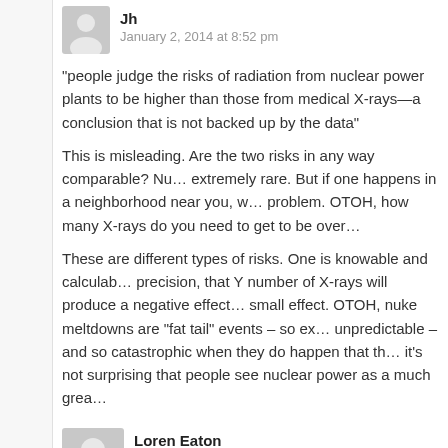Jh
January 2, 2014 at 8:52 pm
“people judge the risks of radiation from nuclear power plants to be higher than those from medical X-rays—a conclusion that is not backed up by the data”
This is misleading. Are the two risks in any way comparable? Nuclear meltdowns are extremely rare. But if one happens in a neighborhood near you, well, you have a big problem. OTOH, how many X-rays do you need to get to be overexposed?
These are different types of risks. One is knowable and calculable with some precision, that Y number of X-rays will produce a negative effect, but it will be a small effect. OTOH, nuke meltdowns are “fat tail” events – so extremely rare and unpredictable – and so catastrophic when they do happen that they overwhelm us. So it’s not surprising that people see nuclear power as a much greater risk.
Loren Eaton
January 2, 2014 at 10:42 pm
'Data is not the new faith that 'dictates' what we must conclude; D